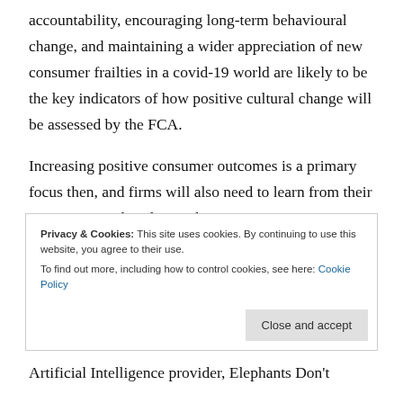accountability, encouraging long-term behavioural change, and maintaining a wider appreciation of new consumer frailties in a covid-19 world are likely to be the key indicators of how positive cultural change will be assessed by the FCA.
Increasing positive consumer outcomes is a primary focus then, and firms will also need to learn from their previous mistakes during the
Privacy & Cookies: This site uses cookies. By continuing to use this website, you agree to their use. To find out more, including how to control cookies, see here: Cookie Policy
Close and accept
Artificial Intelligence provider, Elephants Don't